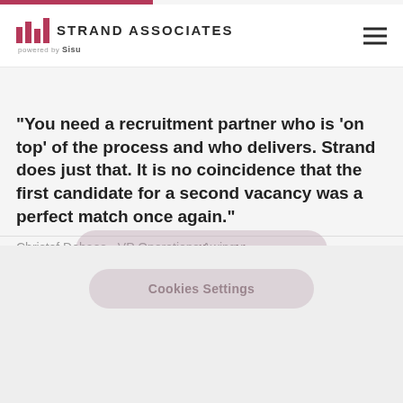STRAND ASSOCIATES powered by Sisu
"You need a recruitment partner who is 'on top' of the process and who delivers. Strand does just that. It is no coincidence that the first candidate for a second vacancy was a perfect match once again."
Christof Debaes - VP Operations Awingu